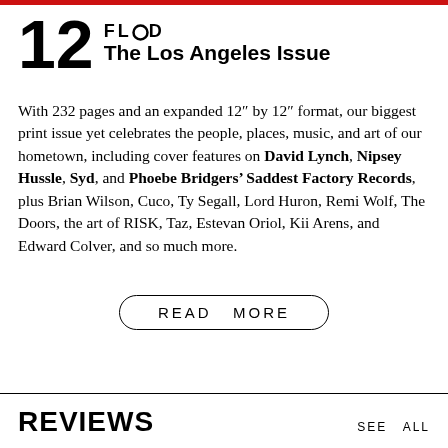12 FLOOD The Los Angeles Issue
With 232 pages and an expanded 12″ by 12″ format, our biggest print issue yet celebrates the people, places, music, and art of our hometown, including cover features on David Lynch, Nipsey Hussle, Syd, and Phoebe Bridgers’ Saddest Factory Records, plus Brian Wilson, Cuco, Ty Segall, Lord Huron, Remi Wolf, The Doors, the art of RISK, Taz, Estevan Oriol, Kii Arens, and Edward Colver, and so much more.
READ MORE
REVIEWS
SEE ALL